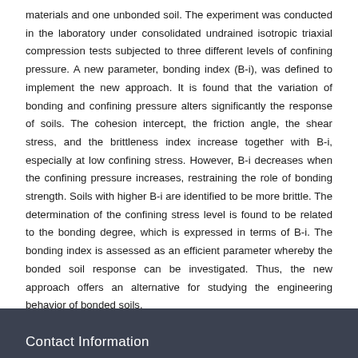materials and one unbonded soil. The experiment was conducted in the laboratory under consolidated undrained isotropic triaxial compression tests subjected to three different levels of confining pressure. A new parameter, bonding index (B-i), was defined to implement the new approach. It is found that the variation of bonding and confining pressure alters significantly the response of soils. The cohesion intercept, the friction angle, the shear stress, and the brittleness index increase together with B-i, especially at low confining stress. However, B-i decreases when the confining pressure increases, restraining the role of bonding strength. Soils with higher B-i are identified to be more brittle. The determination of the confining stress level is found to be related to the bonding degree, which is expressed in terms of B-i. The bonding index is assessed as an efficient parameter whereby the bonded soil response can be investigated. Thus, the new approach offers an alternative for studying the engineering behavior of bonded soils.
Contact Information